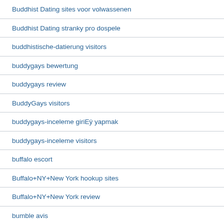Buddhist Dating sites voor volwassenen
Buddhist Dating stranky pro dospele
buddhistische-datierung visitors
buddygays bewertung
buddygays review
BuddyGays visitors
buddygays-inceleme giriEÿ yapmak
buddygays-inceleme visitors
buffalo escort
Buffalo+NY+New York hookup sites
Buffalo+NY+New York review
bumble avis
Bumble meetic
bumble mobile
bumble pl review